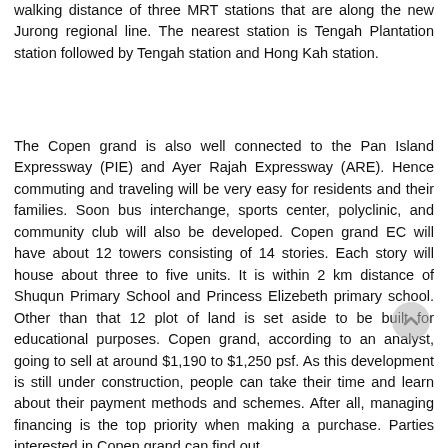walking distance of three MRT stations that are along the new Jurong regional line. The nearest station is Tengah Plantation station followed by Tengah station and Hong Kah station.
The Copen grand is also well connected to the Pan Island Expressway (PIE) and Ayer Rajah Expressway (ARE). Hence commuting and traveling will be very easy for residents and their families. Soon bus interchange, sports center, polyclinic, and community club will also be developed. Copen grand EC will have about 12 towers consisting of 14 stories. Each story will house about three to five units. It is within 2 km distance of Shuqun Primary School and Princess Elizebeth primary school. Other than that 12 plot of land is set aside to be built for educational purposes. Copen grand, according to an analyst, going to sell at around $1,190 to $1,250 psf. As this development is still under construction, people can take their time and learn about their payment methods and schemes. After all, managing financing is the top priority when making a purchase. Parties interested in Copen grand can find out